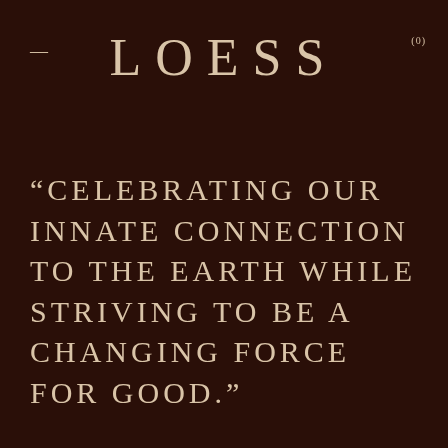LOESS
(0)
“CELEBRATING OUR INNATE CONNECTION TO THE EARTH WHILE STRIVING TO BE A CHANGING FORCE FOR GOOD.”